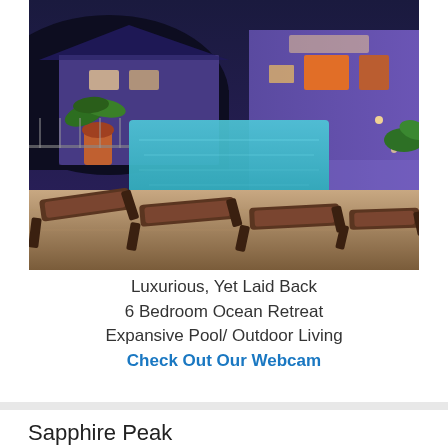[Figure (photo): Night-time exterior photo of a luxury villa with an illuminated swimming pool surrounded by lounge chairs, set against purple-lit building facades and tropical foliage]
Luxurious, Yet Laid Back
6 Bedroom Ocean Retreat
Expansive Pool/ Outdoor Living
Check Out Our Webcam
Sapphire Peak